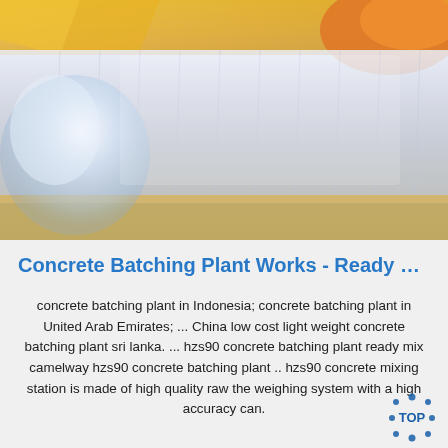[Figure (photo): Photo of stacked clear/transparent sheet material (possibly acrylic or glass sheets) with yellow packaging materials visible in the top area and a blue-white plastic bag on the left side.]
Concrete Batching Plant Works - Ready M…
concrete batching plant in Indonesia; concrete batching plant in United Arab Emirates; ... China low cost light weight concrete batching plant sri lanka. ... hzs90 concrete batching plant ready mix camelway hzs90 concrete batching plant .. hzs90 concrete mixing station is made of high quality raw the weighing system with a high accuracy can.